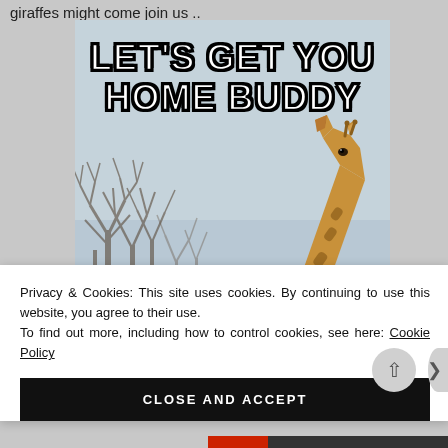giraffes might come join us ..
[Figure (photo): Internet meme image of a giraffe looking upward against a grey sky with bare winter trees, with text overlay reading LET'S GET YOU HOME BUDDY in white Impact font with black outline]
Privacy & Cookies: This site uses cookies. By continuing to use this website, you agree to their use. To find out more, including how to control cookies, see here: Cookie Policy
CLOSE AND ACCEPT